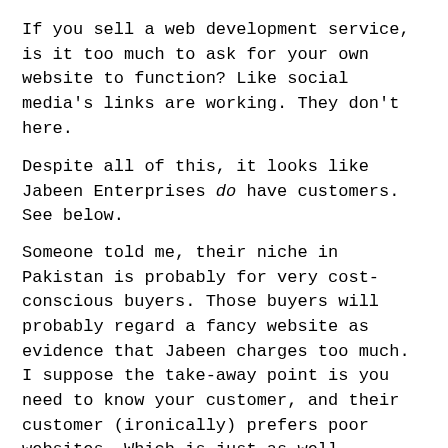If you sell a web development service, is it too much to ask for your own website to function? Like social media's links are working. They don't here.
Despite all of this, it looks like Jabeen Enterprises do have customers. See below.
Someone told me, their niche in Pakistan is probably for very cost-conscious buyers. Those buyers will probably regard a fancy website as evidence that Jabeen charges too much.
I suppose the take-away point is you need to know your customer, and their customer (ironically) prefers poor websites. Which is just as well, because that's what they get!. This website is also on the list of 5 interesting websites the most trending things now.
Kentpure.com:
This is a ghost blocked for websites made by Jabeen